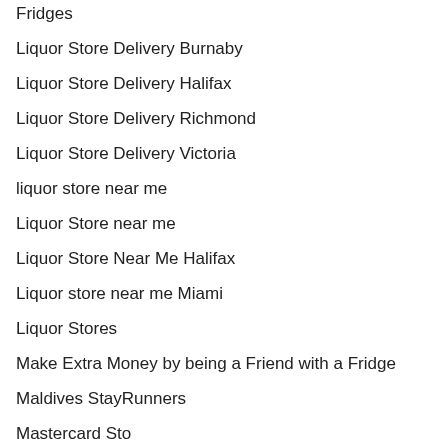Fridges
Liquor Store Delivery Burnaby
Liquor Store Delivery Halifax
Liquor Store Delivery Richmond
Liquor Store Delivery Victoria
liquor store near me
Liquor Store near me
Liquor Store Near Me Halifax
Liquor store near me Miami
Liquor Stores
Make Extra Money by being a Friend with a Fridge
Maldives StayRunners
Mastercard Stores